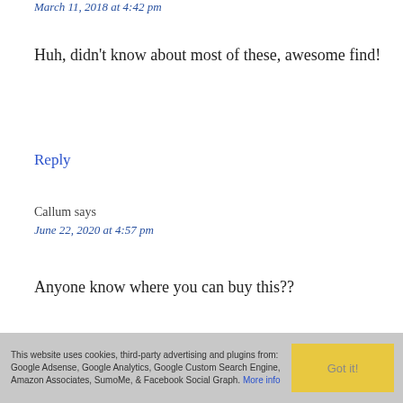March 11, 2018 at 4:42 pm
Huh, didn't know about most of these, awesome find!
Reply
Callum says
June 22, 2020 at 4:57 pm
Anyone know where you can buy this??
This website uses cookies, third-party advertising and plugins from: Google Adsense, Google Analytics, Google Custom Search Engine, Amazon Associates, SumoMe, & Facebook Social Graph. More info  Got it!